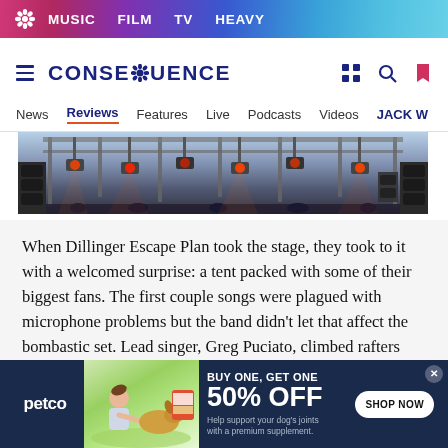MUSIC  FILM  TV  HEAVY
[Figure (logo): Consequence of Sound logo with hamburger menu and nav icons]
News  Reviews  Features  Live  Podcasts  Videos  JACK W
[Figure (photo): Concert stage photo with lighting rigs and speakers from below]
When Dillinger Escape Plan took the stage, they took to it with a welcomed surprise: a tent packed with some of their biggest fans. The first couple songs were plagued with microphone problems but the band didn't let that affect the bombastic set. Lead singer, Greg Puciato, climbed rafters and speakers
[Figure (infographic): Petco advertisement: BUY ONE, GET ONE 50% OFF - Help support your dog's joints with a premium supplement. SHOP NOW button.]